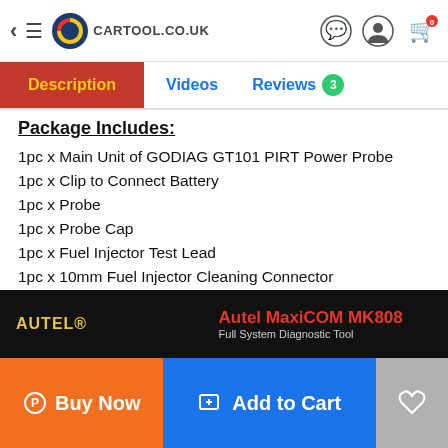CARTOOL.CO.UK
Description | Videos | Reviews 3
Package Includes:
1pc x Main Unit of GODIAG GT101 PIRT Power Probe
1pc x Clip to Connect Battery
1pc x Probe
1pc x Probe Cap
1pc x Fuel Injector Test Lead
1pc x 10mm Fuel Injector Cleaning Connector
1pc x 12mm Fuel Injector Cleaning Connector
1pc x Simple Relay Test Adapter
5pcs Simple Relay Connection Leads
1pc x English Manual
[Figure (screenshot): Autel MaxiCOM MK808 advertisement banner - Full System Diagnostic Tool]
Buy Now | Add to Cart | Wishlist